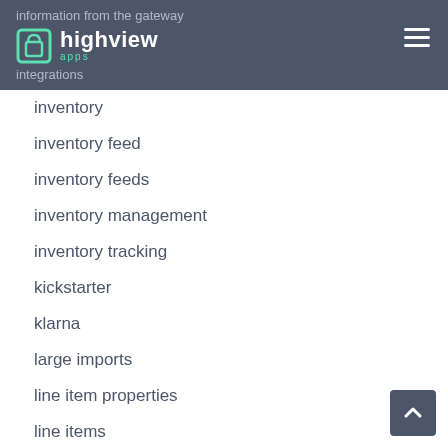information from the gateway integrations — highview apps
inventory
inventory feed
inventory feeds
inventory management
inventory tracking
kickstarter
klarna
large imports
line item properties
line items
local pickup
location
marketplaces